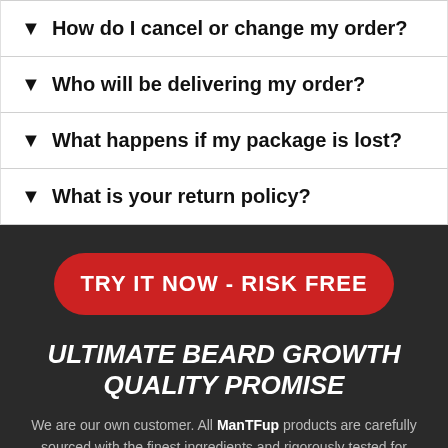▼ How do I cancel or change my order?
▼ Who will be delivering my order?
▼ What happens if my package is lost?
▼ What is your return policy?
TRY IT NOW - RISK FREE
ULTIMATE BEARD GROWTH QUALITY PROMISE
We are our own customer. All ManTFup products are carefully sourced with the finest ingredients and rigorously tested for